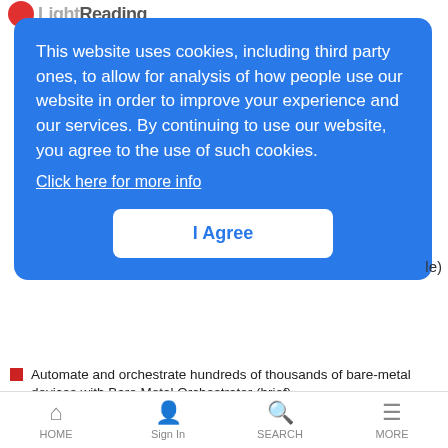Light Reading
This website uses cookies, including third party ones, to allow for analysis of how people use our website in order to improve your experience and our services. By continuing to use our website, you agree to the use of such cookies.
Click here for more info
I Agree
le)
Automate and orchestrate hundreds of thousands of bare-metal devices with Bare Metal Orchestrator (brief)
The Future is Open - An Introduction to Open RAN (eBook)
[Figure (logo): Juniper Networks logo in black text]
Juniper Networks Scalable IP Services Fabric for Wide Area Networks
HOME  Sign In  SEARCH  MORE